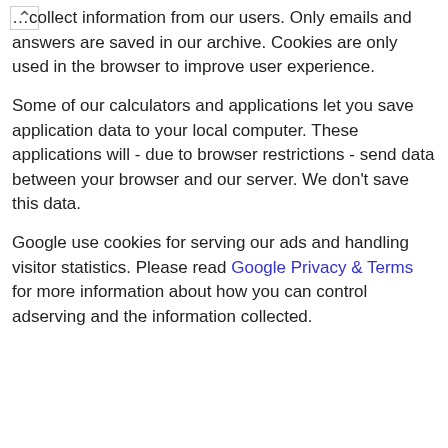…collect information from our users. Only emails and answers are saved in our archive. Cookies are only used in the browser to improve user experience.
Some of our calculators and applications let you save application data to your local computer. These applications will - due to browser restrictions - send data between your browser and our server. We don't save this data.
Google use cookies for serving our ads and handling visitor statistics. Please read Google Privacy & Terms for more information about how you can control adserving and the information collected.